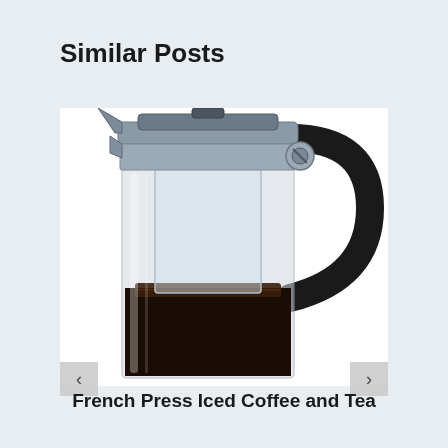Similar Posts
[Figure (photo): Close-up photo of a French press coffee maker with a glass carafe, chrome top mechanism, and black handle. Coffee is visible inside the press.]
French Press Iced Coffee and Tea